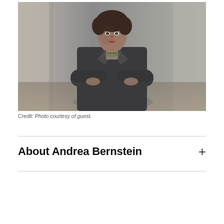[Figure (photo): Black and white photo of a woman with short curly hair, wearing a dark blazer with arms crossed, standing in front of a concrete pillar. She has a necklace and red lipstick.]
Credit: Photo courtesy of guest.
About Andrea Bernstein